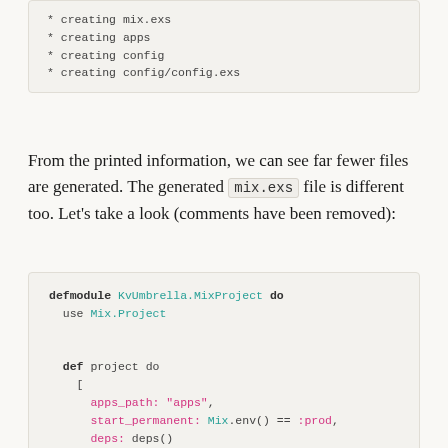* creating mix.exs
* creating apps
* creating config
* creating config/config.exs
From the printed information, we can see far fewer files are generated. The generated mix.exs file is different too. Let's take a look (comments have been removed):
defmodule KvUmbrella.MixProject do
  use Mix.Project

  def project do
    [
      apps_path: "apps",
      start_permanent: Mix.env() == :prod,
      deps: deps()
    ]
  end